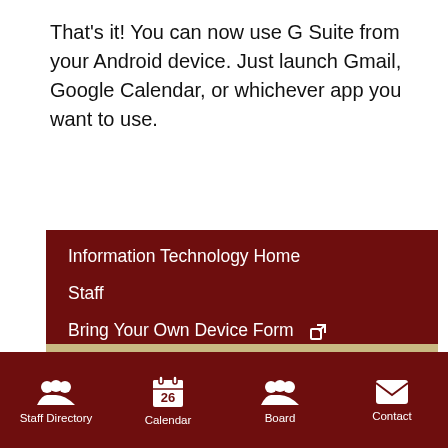That's it! You can now use G Suite from your Android device. Just launch Gmail, Google Calendar, or whichever app you want to use.
Information Technology Home
Staff
Bring Your Own Device Form ↗
Computer Quotes & Specs
Civic Permits (Facilities Use)
Email Online (Gmail)
Staff Directory | Calendar | Board | Contact